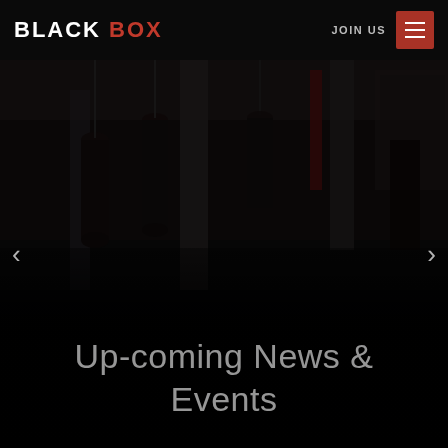BLACK BOX | JOIN US
[Figure (photo): Dark boxing gym interior showing punching bags hanging from ceiling, pillars, boxing ring area, and a person visible near the right side. Image is very dark/dimly lit.]
Up-coming News & Events